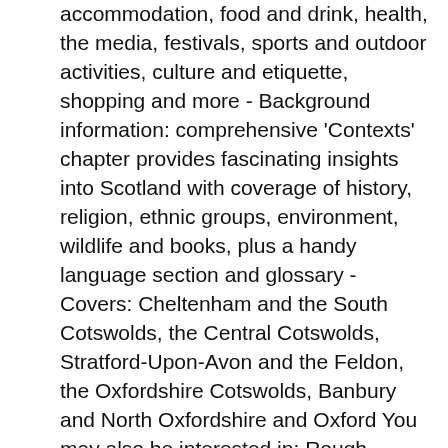accommodation, food and drink, health, the media, festivals, sports and outdoor activities, culture and etiquette, shopping and more - Background information: comprehensive 'Contexts' chapter provides fascinating insights into Scotland with coverage of history, religion, ethnic groups, environment, wildlife and books, plus a handy language section and glossary - Covers: Cheltenham and the South Cotswolds, the Central Cotswolds, Stratford-Upon-Avon and the Feldon, the Oxfordshire Cotswolds, Banbury and North Oxfordshire and Oxford You may also be interested in: Rough Guide to England About Rough Guides: Rough Guides have been inspiring travellers for over 35 years, with over 30 million copies sold globally.